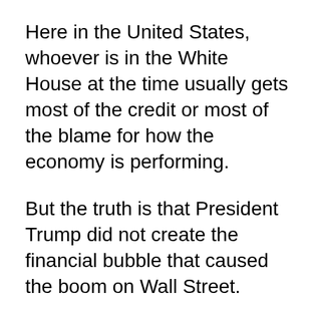Here in the United States, whoever is in the White House at the time usually gets most of the credit or most of the blame for how the economy is performing.
But the truth is that President Trump did not create the financial bubble that caused the boom on Wall Street.
The Federal Reserve did.
And President Trump is not going to be responsible when that bubble bursts either.
The Federal Reserve has far, far more control over the performance of the U.S. economy than either the president or Congress does. And